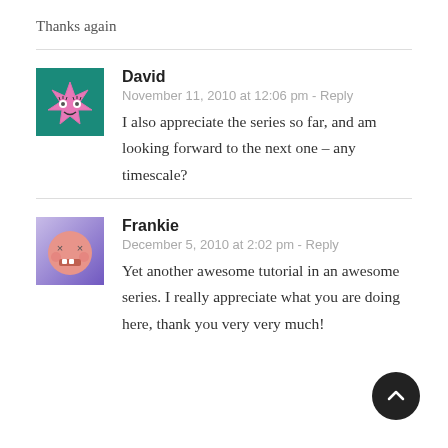Thanks again
[Figure (illustration): Avatar for David: teal background with pink cartoon spiky star character with eyes and smile]
David
November 11, 2010 at 12:06 pm - Reply
I also appreciate the series so far, and am looking forward to the next one – any timescale?
[Figure (illustration): Avatar for Frankie: purple gradient background with round pink cartoon face with X eyes, rectangular mouth with teeth]
Frankie
December 5, 2010 at 2:02 pm - Reply
Yet another awesome tutorial in an awesome series. I really appreciate what you are doing here, thank you very very much!